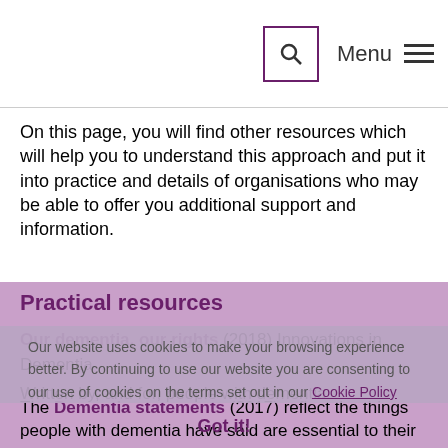Menu
On this page, you will find other resources which will help you to understand this approach and put it into practice and details of organisations who may be able to offer you additional support and information.
Practical resources
Our website uses cookies to make your browsing experience better. By continuing to use our website you are consenting to our use of cookies on the terms set out in our Cookie Policy
Our dementia, our rights (2018) Innovations in Dementia
Written by, and for, people with dementia
The Dementia statements (2017) reflect the things people with dementia have said are essential to their quality of life.